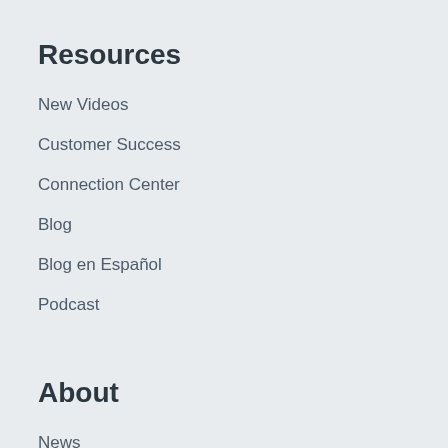Resources
New Videos
Customer Success
Connection Center
Blog
Blog en Español
Podcast
About
News
Team
Contact Us